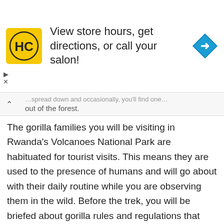[Figure (other): Advertisement banner for a hair salon (HC logo with yellow background) with text 'View store hours, get directions, or call your salon!' and a blue navigation/directions diamond icon on the right. Small play and close controls on the left edge.]
…out of the forest.
The gorilla families you will be visiting in Rwanda's Volcanoes National Park are habituated for tourist visits. This means they are used to the presence of humans and will go about with their daily routine while you are observing them in the wild. Before the trek, you will be briefed about gorilla rules and regulations that need to be strictly followed while in the presence of the gorillas. Such rules are for your safety as well as the safety of the gorillas.